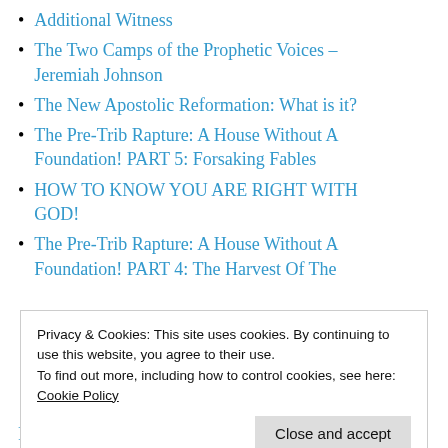Additional Witness
The Two Camps of the Prophetic Voices – Jeremiah Johnson
The New Apostolic Reformation: What is it?
The Pre-Trib Rapture: A House Without A Foundation! PART 5: Forsaking Fables
HOW TO KNOW YOU ARE RIGHT WITH GOD!
The Pre-Trib Rapture: A House Without A Foundation! PART 4: The Harvest Of The
Privacy & Cookies: This site uses cookies. By continuing to use this website, you agree to their use.
To find out more, including how to control cookies, see here: Cookie Policy
Close and accept
Foundation! PART 2: Raptured Off To